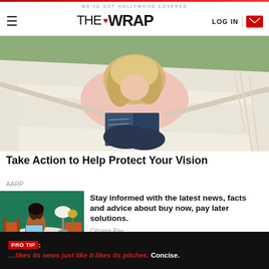WE'VE GOT HOLLYWOOD COVERED | THE WRAP | LOG IN
[Figure (photo): Woman in pink sweater reading a book while lying in a white hammock outdoors]
Take Action to Help Protect Your Vision
AARP
[Figure (photo): Woman in orange outfit sitting at a white round table with laptop, orange chairs, green wall background]
Stay informed with the latest news, facts and advice about buy now, pay later solutions.
Citizens Pay
PRO TIP: …likes its news just like it likes its pitches. Concise.